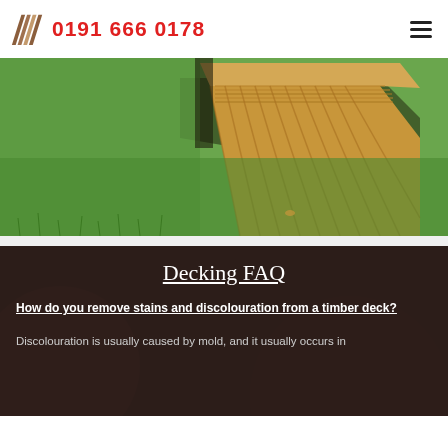0191 666 0178
[Figure (photo): Close-up photo of a timber/wooden deck corner on green grass, showing the wood grain and layered planks from above at an angle.]
Decking FAQ
How do you remove stains and discolouration from a timber deck?
Discolouration is usually caused by mold, and it usually occurs in